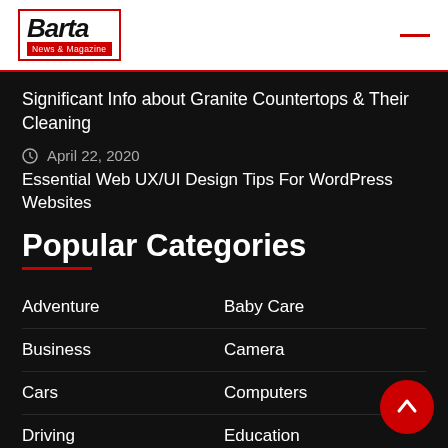Barta News & Magazine
Significant Info about Granite Countertops & Their Cleaning
April 22, 2020
Essential Web UX/UI Design Tips For WordPress Websites
Popular Categories
Adventure
Baby Care
Business
Camera
Cars
Computers
Driving
Education
Electronics
Food
Games
General
Health